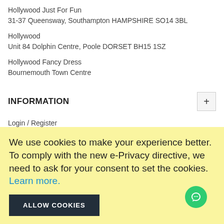Hollywood Just For Fun
31-37 Queensway, Southampton HAMPSHIRE SO14 3BL
Hollywood
Unit 84 Dolphin Centre, Poole DORSET BH15 1SZ
Hollywood Fancy Dress
Bournemouth Town Centre
INFORMATION
Login / Register
About Us
Contact Us
We use cookies to make your experience better. To comply with the new e-Privacy directive, we need to ask for your consent to set the cookies. Learn more.
ALLOW COOKIES